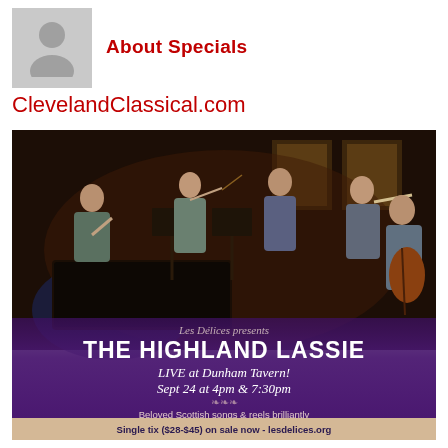About Specials
ClevelandClassical.com
[Figure (photo): Concert advertisement photo showing musicians performing at Dunham Tavern with text overlay: Les Délices presents THE HIGHLAND LASSIE, LIVE at Dunham Tavern! Sept 24 at 4pm & 7:30pm, Beloved Scottish songs & reels brilliantly performed on historical instruments! Single tix ($28-$45) on sale now - lesdelices.org]